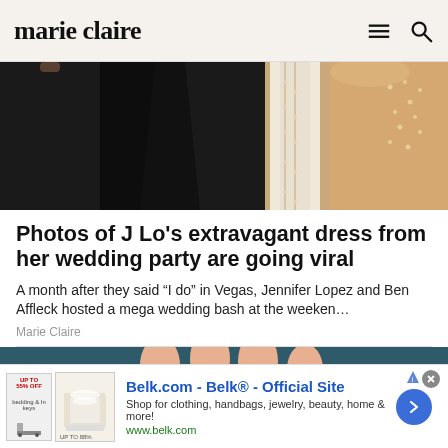marie claire
[Figure (photo): Close-up photo of a man in a black suit/tuxedo and a woman in a white dress with rhinestone/crystal straps and necklace, likely a wedding photo of Ben Affleck and Jennifer Lopez]
Photos of J Lo's extravagant dress from her wedding party are going viral
A month after they said “I do” in Vegas, Jennifer Lopez and Ben Affleck hosted a mega wedding bash at the weeken…
Marie Claire
[Figure (photo): Close-up photo of fingers holding pink/red sugary candy gummies against a dark teal background]
Belk.com - Belk® - Official Site
Shop for clothing, handbags, jewelry, beauty, home & more!
www.belk.com